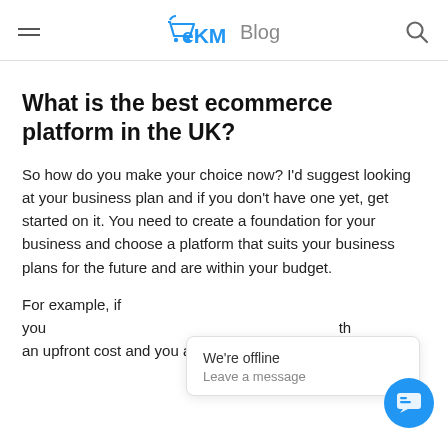eKM Blog
What is the best ecommerce platform in the UK?
So how do you make your choice now? I'd suggest looking at your business plan and if you don't have one yet, get started on it. You need to create a foundation for your business and choose a platform that suits your business plans for the future and are within your budget.
For example, if you... an upfront cost and you already own stock. Etsy